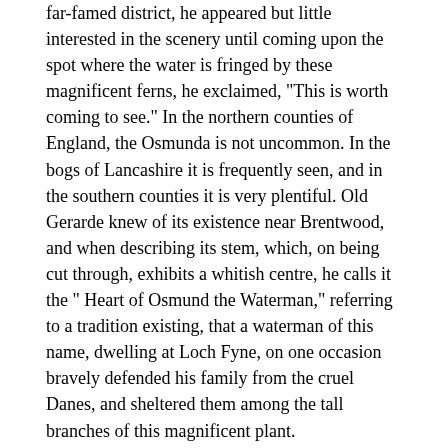far-famed district, he appeared but little interested in the scenery until coming upon the spot where the water is fringed by these magnificent ferns, he exclaimed, "This is worth coming to see." In the northern counties of England, the Osmunda is not uncommon. In the bogs of Lancashire it is frequently seen, and in the southern counties it is very plentiful. Old Gerarde knew of its existence near Brentwood, and when describing its stem, which, on being cut through, exhibits a whitish centre, he calls it the " Heart of Osmund the Waterman," referring to a tradition existing, that a waterman of this name, dwelling at Loch Fyne, on one occasion bravely defended his family from the cruel Danes, and sheltered them among the tall branches of this magnificent plant.
The medicinal properties of the Flowering Fern are extolled by old writers as having "all the virtues mentioned in other ferns, and is much more effectual than they both for inward and outward griefs, and is accounted ' good in wounds, bruises, or the like. The decoction to be drunk, or boiled into an ointment of oil as a balsam or balm; and so it is singular good against bruises and bones broken or out of joint." The root, when boiled, yields a sort of mucilage, which, in the North of Europe, is used for stiffening linen.
This showy and attractive fern should find a place in all collections. It is not difficult of culture, and thrives well on the margin of a piece of water, or on rock-work near water. On the banks of ponds or lakes, and in a damp peaty soil, with plenty of moisture, it will attain its